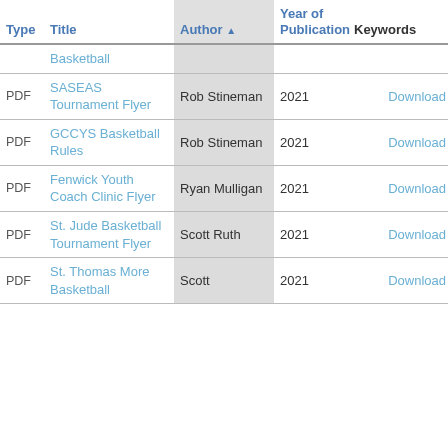| Type | Title | Author ▲ | Year of Publication | Keywords |
| --- | --- | --- | --- | --- |
|  | Basketball |  |  |  |
| PDF | SASEAS Tournament Flyer | Rob Stineman | 2021 | Download |
| PDF | GCCYS Basketball Rules | Rob Stineman | 2021 | Download |
| PDF | Fenwick Youth Coach Clinic Flyer | Ryan Mulligan | 2021 | Download |
| PDF | St. Jude Basketball Tournament Flyer | Scott Ruth | 2021 | Download |
| PDF | St. Thomas More Basketball | Scott | 2021 | Download |